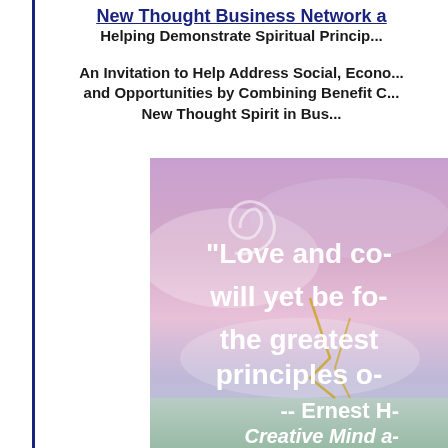New Thought Business Network a...
Helping Demonstrate Spiritual Princip...
An Invitation to Help Address Social, Econo... and Opportunities by Combining Benefit C... New Thought Spirit in Bus...
[Figure (illustration): Inspirational image with purple/pink sky and white swirl, overlaid with quote text in white: "Love and co- will yet be fo- the greatest principles o- -- Ernest H- Creative Mind a-"]